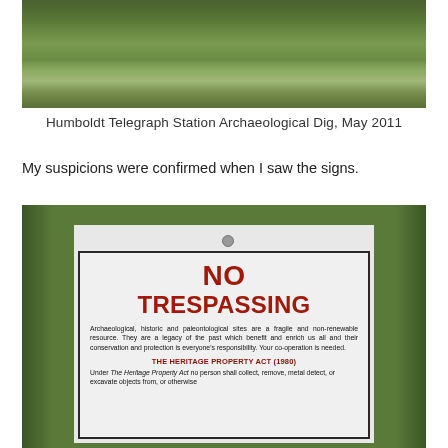[Figure (photo): Photograph of a grassy field/ground at Humboldt Telegraph Station Archaeological Dig]
Humboldt Telegraph Station Archaeological Dig, May 2011
My suspicions were confirmed when I saw the signs.
[Figure (photo): Photograph of a No Trespassing sign referencing the Heritage Property Act (1980) at an archaeological site, with text about protecting archaeological, historic and paleontological sites.]